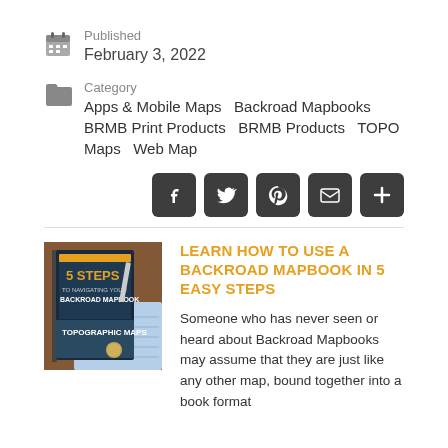Published
February 3, 2022
Category
Apps & Mobile Maps   Backroad Mapbooks   BRMB Print Products   BRMB Products   TOPO Maps   Web Map
[Figure (other): Social sharing buttons: Facebook, Twitter, Pinterest, Email, More (plus)]
[Figure (photo): Book cover: '5 Steps to Navigating Your Backroad Mapbook' with topographic maps]
LEARN HOW TO USE A BACKROAD MAPBOOK IN 5 EASY STEPS
Someone who has never seen or heard about Backroad Mapbooks may assume that they are just like any other map, bound together into a book format